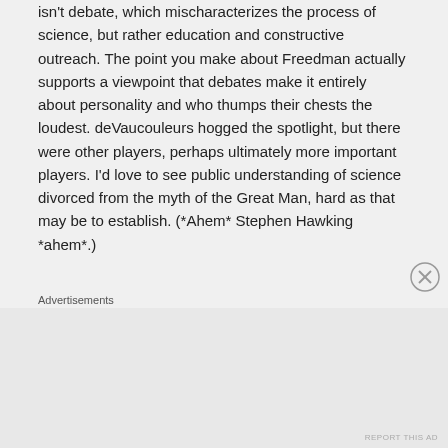isn't debate, which mischaracterizes the process of science, but rather education and constructive outreach. The point you make about Freedman actually supports a viewpoint that debates make it entirely about personality and who thumps their chests the loudest. deVaucouleurs hogged the spotlight, but there were other players, perhaps ultimately more important players. I'd love to see public understanding of science divorced from the myth of the Great Man, hard as that may be to establish. (*Ahem* Stephen Hawking *ahem*.)
Advertisements